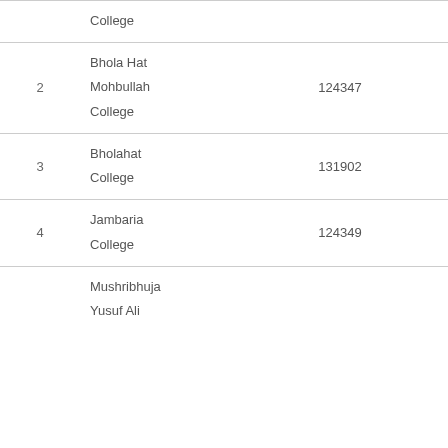| # | College Name | EIIN | Upazila |
| --- | --- | --- | --- |
|  | College |  |  |
| 2 | Bhola Hat Mohbullah College | 124347 | Bholahat |
| 3 | Bholahat College | 131902 | Bholahat |
| 4 | Jambaria College | 124349 | Bholahat |
|  | Mushribhuja Yusuf Ali |  |  |